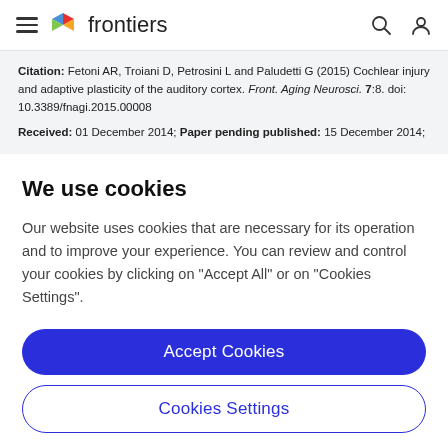frontiers
Citation: Fetoni AR, Troiani D, Petrosini L and Paludetti G (2015) Cochlear injury and adaptive plasticity of the auditory cortex. Front. Aging Neurosci. 7:8. doi: 10.3389/fnagi.2015.00008
Received: 01 December 2014; Paper pending published: 15 December 2014;
We use cookies
Our website uses cookies that are necessary for its operation and to improve your experience. You can review and control your cookies by clicking on "Accept All" or on "Cookies Settings".
Accept Cookies
Cookies Settings